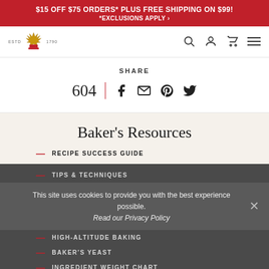$15 OFF $75 ORDERS* PLUS FREE SHIPPING ON $99! *EXCLUSIONS APPLY
[Figure (logo): King Arthur Baking Company logo — wheat crown emblem with ESTD 1790 text]
SHARE
604
Baker's Resources
RECIPE SUCCESS GUIDE
TIPS & TECHNIQUES
HIGH-ALTITUDE BAKING
BAKER'S YEAST
INGREDIENT WEIGHT CHART
TOOLS & PANS
This site uses cookies to provide you with the best experience possible.
Read our Privacy Policy